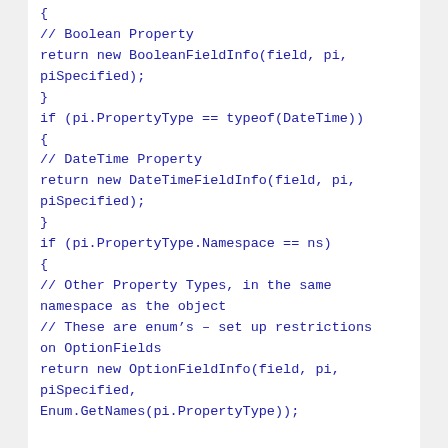{
// Boolean Property
return new BooleanFieldInfo(field, pi,
piSpecified);
}
if (pi.PropertyType == typeof(DateTime))
{
// DateTime Property
return new DateTimeFieldInfo(field, pi,
piSpecified);
}
if (pi.PropertyType.Namespace == ns)
{
// Other Property Types, in the same
namespace as the object
// These are enum's – set up restrictions
on OptionFields
return new OptionFieldInfo(field, pi,
piSpecified,
Enum.GetNames(pi.PropertyType));